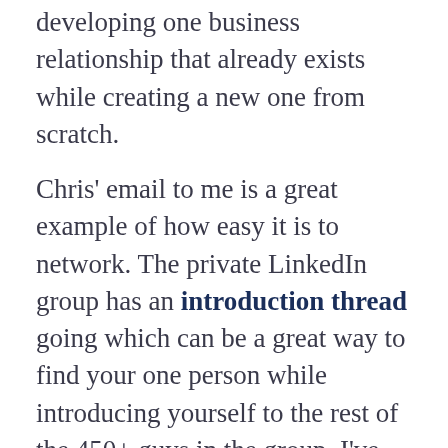developing one business relationship that already exists while creating a new one from scratch.
Chris' email to me is a great example of how easy it is to network. The private LinkedIn group has an introduction thread going which can be a great way to find your one person while introducing yourself to the rest of the 450+ guys in the group. I've included a button below which will take you directly to the post to read through the other comments and to post your own.
The reason the community exists is to make it